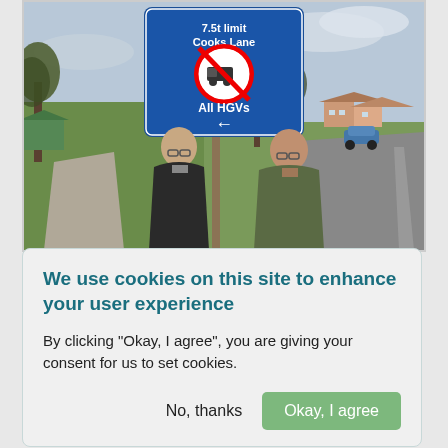[Figure (photo): Two men standing in front of a blue HGV restriction sign on a road. The sign reads 'Cooks Lane' with a weight limit symbol showing '7.5t' and truck with prohibition circle, text 'All HGVs' and a left arrow. Background shows bare trees, grass verge, suburban houses and a car.]
We use cookies on this site to enhance your user experience
By clicking "Okay, I agree", you are giving your consent for us to set cookies.
No, thanks
Okay, I agree